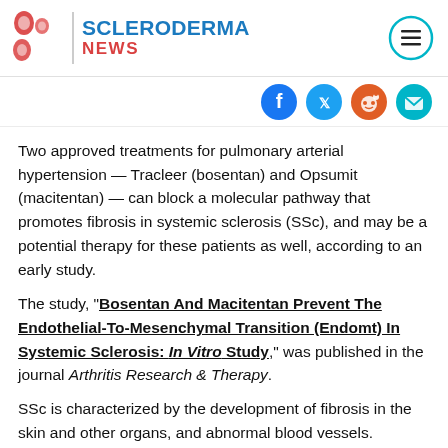SCLERODERMA NEWS
[Figure (logo): Scleroderma News logo with red cell icons, vertical divider, and teal/blue SCLERODERMA NEWS text, plus hamburger menu circle icon on right]
[Figure (infographic): Social media share icons: Facebook (dark blue), Twitter (light blue), Reddit (orange-red), email/share (teal) — row of four circular icons]
Two approved treatments for pulmonary arterial hypertension — Tracleer (bosentan) and Opsumit (macitentan) — can block a molecular pathway that promotes fibrosis in systemic sclerosis (SSc), and may be a potential therapy for these patients as well, according to an early study.
The study, "Bosentan And Macitentan Prevent The Endothelial-To-Mesenchymal Transition (Endomt) In Systemic Sclerosis: In Vitro Study," was published in the journal Arthritis Research & Therapy.
SSc is characterized by the development of fibrosis in the skin and other organs, and abnormal blood vessels. Although different molecules have been